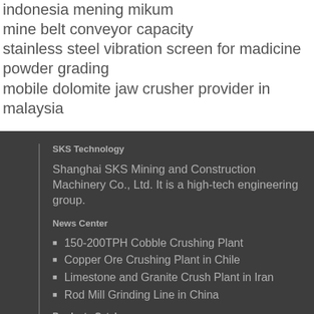indonesia mening mikum
mine belt conveyor capacity
stainless steel vibration screen for madicine powder grading
mobile dolomite jaw crusher provider in malaysia
SKS Technology
Shanghai SKS Mining and Construction Machinery Co., Ltd. It is a high-tech engineering group.
News Center
150-200TPH Cobble Crushing Plant
Copper Ore Crushing Plant in Chile
Limestone and Granite Crush Plant in Iran
Rod Mill Grinding Line in China
Products Catalog